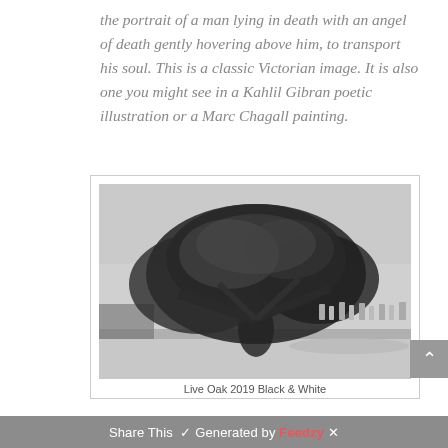the portrait of a man lying in death with an angel of death gently hovering above him, to transport his soul. This is a classic Victorian image. It is also one you might see in a Kahlil Gibran poetic illustration or a Marc Chagall painting.
[Figure (photo): Black and white photograph of a large live oak tree in what appears to be a cemetery, with gravestones visible in the background and a road/path visible in the foreground.]
Live Oak 2019 Black & White
Share This Generated by Feedzy